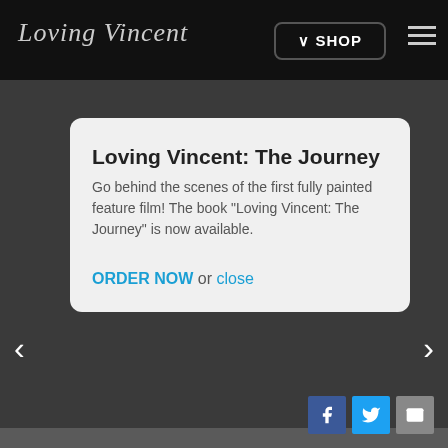Loving Vincent
Loving Vincent: The Journey
Go behind the scenes of the first fully painted feature film! The book "Loving Vincent: The Journey" is now available.
ORDER NOW or close
[Figure (screenshot): Social media share buttons: Facebook, Twitter, Email]